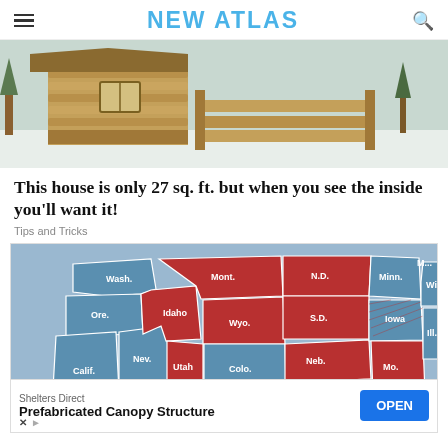NEW ATLAS
[Figure (photo): A log cabin / small wooden house under construction in a snowy outdoor setting, with stacked logs and a porch visible.]
This house is only 27 sq. ft. but when you see the inside you'll want it!
Tips and Tricks
[Figure (map): A map of the United States showing states colored in red and blue, resembling a political or election-result map. States labeled include Wash., Ore., Calif., Nev., Utah, Idaho, Mont., Wyo., Colo., Kan., Neb., N.D., S.D., Minn., Iowa, Mo., Ill., Ind., Ohio, Mich., Wis., Pa., N.Y., Va., W.Va., Ky., N.C.]
Shelters Direct
Prefabricated Canopy Structure